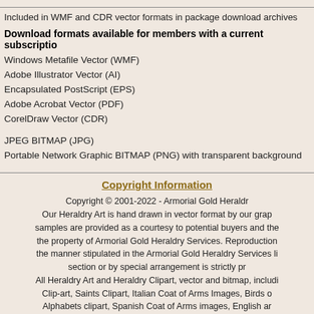Included in WMF and CDR vector formats in package download archives
Download formats available for members with a current subscription
Windows Metafile Vector (WMF)
Adobe Illustrator Vector (AI)
Encapsulated PostScript (EPS)
Adobe Acrobat Vector (PDF)
CorelDraw Vector (CDR)
JPEG BITMAP (JPG)
Portable Network Graphic BITMAP (PNG) with transparent background
Copyright Information
Copyright © 2001-2022 - Armorial Gold Heraldry Our Heraldry Art is hand drawn in vector format by our graphic artists. samples are provided as a courtesy to potential buyers and the images are the property of Armorial Gold Heraldry Services. Reproduction or use other than the manner stipulated in the Armorial Gold Heraldry Services license agreement section or by special arrangement is strictly prohibited. All Heraldry Art and Heraldry Clipart, vector and bitmap, including but not limited to Clip-art, Saints Clipart, Italian Coat of Arms Images, Birds of Prey Heraldry Alphabets clipart, Spanish Coat of Arms images, English and Irish arms images, Irish coat of arms images, Das Wapon Gorman Coat